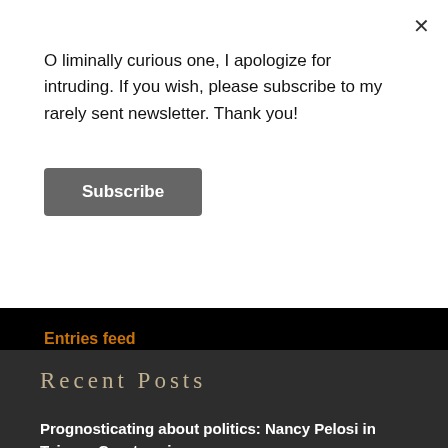O liminally curious one, I apologize for intruding. If you wish, please subscribe to my rarely sent newsletter. Thank you!
Subscribe
Entries feed
Comments feed
WordPress.com
Recent Posts
Prognosticating about politics: Nancy Pelosi in Taiwan. Courtesy is the key ingredient in this recipe.
Tarot Blog Hop: Summer Solstice! Preparation is the key to